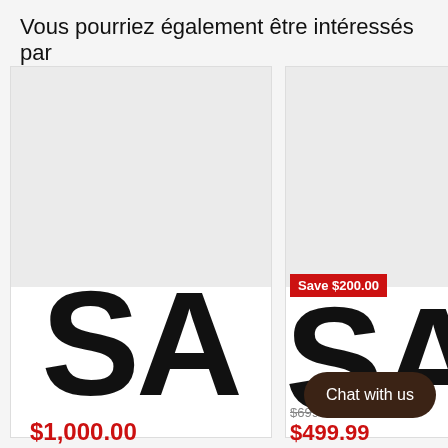Vous pourriez également être intéressés par
[Figure (screenshot): Product card left: gray image placeholder area, large bold 'SA' brand text in black, price $1,000.00 in red]
[Figure (screenshot): Product card right (partially visible): gray image placeholder area, red 'Save $200.00' badge, large bold 'SA' brand text in black, crossed-out price $699.99 and sale price $499.99 in red]
Chat with us